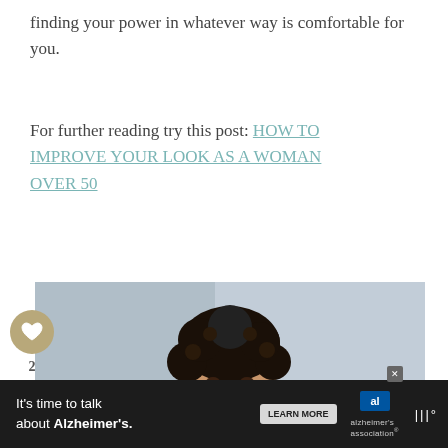finding your power in whatever way is comfortable for you.
For further reading try this post: HOW TO IMPROVE YOUR LOOK AS A WOMAN OVER 50
[Figure (photo): A smiling woman with short curly hair wearing a yellow floral top, photographed against a light blue-grey background.]
It's time to talk about Alzheimer's. LEARN MORE